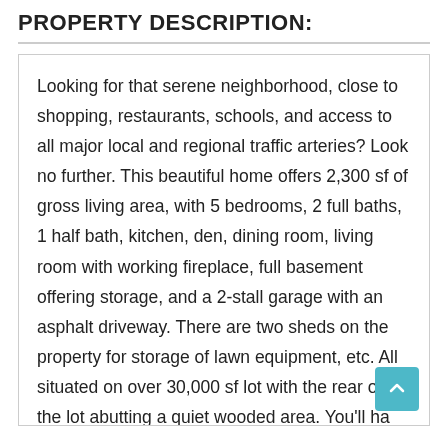PROPERTY DESCRIPTION:
Looking for that serene neighborhood, close to shopping, restaurants, schools, and access to all major local and regional traffic arteries? Look no further. This beautiful home offers 2,300 sf of gross living area, with 5 bedrooms, 2 full baths, 1 half bath, kitchen, den, dining room, living room with working fireplace, full basement offering storage, and a 2-stall garage with an asphalt driveway. There are two sheds on the property for storage of lawn equipment, etc. All situated on over 30,000 sf lot with the rear of the lot abutting a quiet wooded area. You'll ha room to add that pool or hot tub for sure. Come